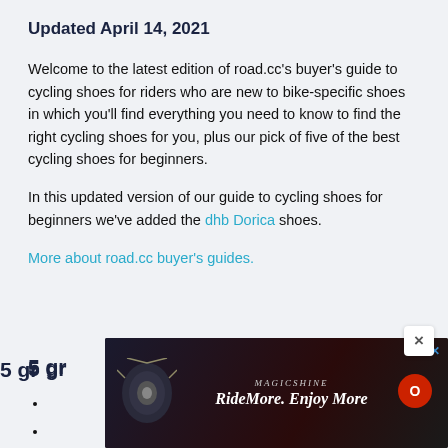Updated April 14, 2021
Welcome to the latest edition of road.cc's buyer's guide to cycling shoes for riders who are new to bike-specific shoes in which you'll find everything you need to know to find the right cycling shoes for you, plus our pick of five of the best cycling shoes for beginners.
In this updated version of our guide to cycling shoes for beginners we've added the dhb Dorica shoes.
More about road.cc buyer's guides.
5 great entry-level cycling shoes
[Figure (other): Advertisement banner: Magicshine RideMore. Enjoy More with bicycle light imagery on dark background]